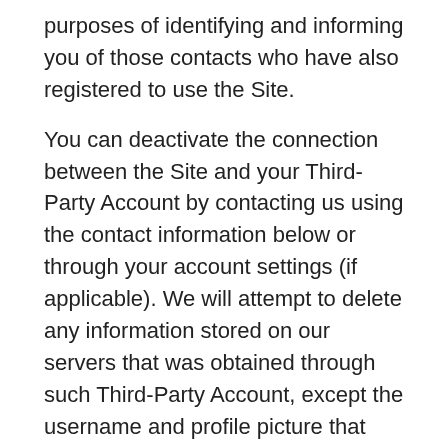purposes of identifying and informing you of those contacts who have also registered to use the Site.
You can deactivate the connection between the Site and your Third-Party Account by contacting us using the contact information below or through your account settings (if applicable). We will attempt to delete any information stored on our servers that was obtained through such Third-Party Account, except the username and profile picture that become associated with your account.
SUBMISSIONS
You acknowledge and agree that any questions, comments, suggestions, ideas, feedback, or other information regarding the Site (“Submissions”)